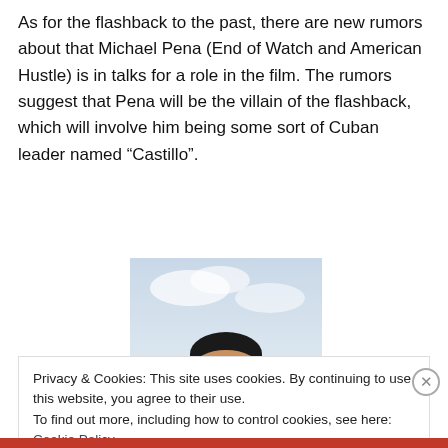As for the flashback to the past, there are new rumors about that Michael Pena (End of Watch and American Hustle) is in talks for a role in the film. The rumors suggest that Pena will be the villain of the flashback, which will involve him being some sort of Cuban leader named “Castillo”.
[Figure (photo): Photo of a man with dark hair against a light sky background, cropped to show forehead and eyes area.]
Privacy & Cookies: This site uses cookies. By continuing to use this website, you agree to their use.
To find out more, including how to control cookies, see here: Cookie Policy
Close and accept